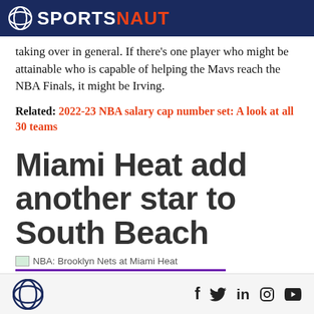SPORTSNAUT
taking over in general. If there's one player who might be attainable who is capable of helping the Mavs reach the NBA Finals, it might be Irving.
Related: 2022-23 NBA salary cap number set: A look at all 30 teams
Miami Heat add another star to South Beach
NBA: Brooklyn Nets at Miami Heat
Sportsnaut logo and social icons: f, Twitter, in, Instagram, YouTube